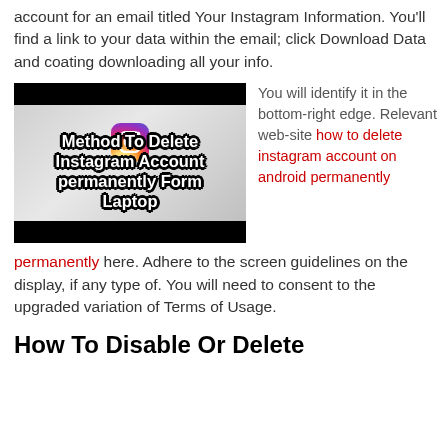account for an email titled Your Instagram Information. You'll find a link to your data within the email; click Download Data and coating downloading all your info.
[Figure (screenshot): Thumbnail image with black bars top and bottom, gray gradient background, Instagram icon in center, bold white text with black outline reading: Method To Delete Instagram Account permanently Form Laptop]
You will identify it in the bottom-right edge. Relevant web-site how to delete instagram account on android permanently here. Adhere to the screen guidelines on the display, if any type of. You will need to consent to the upgraded variation of Terms of Usage.
How To Disable Or Delete